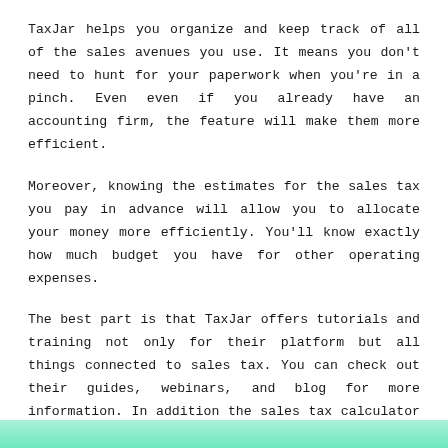TaxJar helps you organize and keep track of all of the sales avenues you use. It means you don't need to hunt for your paperwork when you're in a pinch. Even even if you already have an accounting firm, the feature will make them more efficient.
Moreover, knowing the estimates for the sales tax you pay in advance will allow you to allocate your money more efficiently. You'll know exactly how much budget you have for other operating expenses.
The best part is that TaxJar offers tutorials and training not only for their platform but all things connected to sales tax. You can check out their guides, webinars, and blog for more information. In addition the sales tax calculator can be helpful if you're planning on take on the entire task yourself.